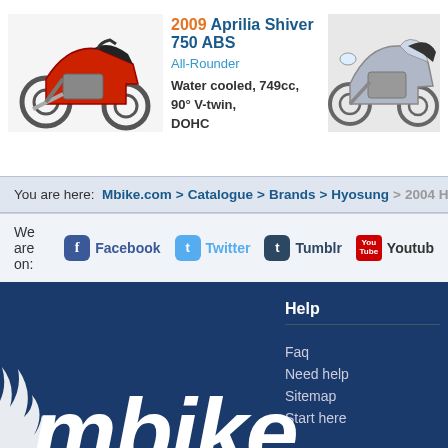[Figure (photo): Red Aprilia Shiver 750 ABS motorcycle, left-side view]
2009 Aprilia Shiver 750 ABS
All-Rounder
Water cooled, 749cc, 90° V-twin, DOHC
[Figure (photo): Silver/grey touring motorcycle, right-side view]
You are here: Mbike.com > Catalogue > Brands > Hyosung > 2004 Hyo
We are on: Facebook   Twitter   Tumblr   Youtube
Help
Faq
Need help
Sitemap
Start here
[Figure (logo): mbike logo in white on dark blue background with flame motif]